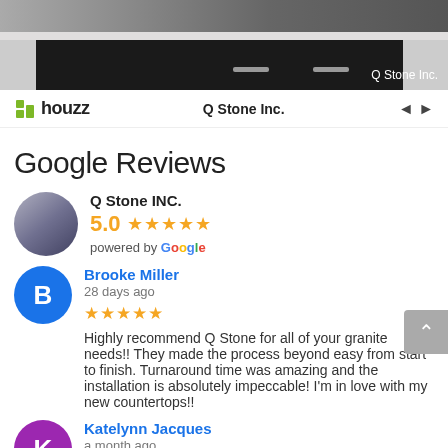[Figure (photo): Kitchen counter and dark cabinets with label 'Q Stone Inc.' in bottom right corner]
houzz   Q Stone Inc.   ◄ ►
Google Reviews
Q Stone INC.
5.0 ★★★★★
powered by Google
Brooke Miller
28 days ago
★★★★★ Highly recommend Q Stone for all of your granite needs!! They made the process beyond easy from start to finish. Turnaround time was amazing and the installation is absolutely impeccable! I'm in love with my new countertops!!
Katelynn Jacques
a month ago